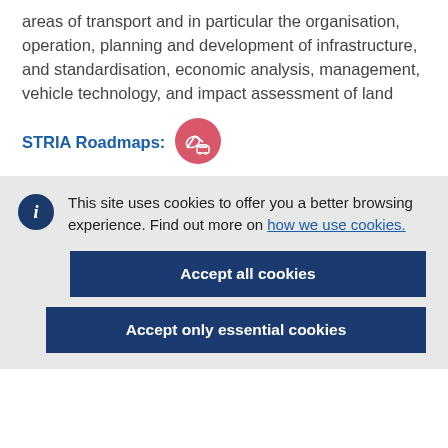areas of transport and in particular the organisation, operation, planning and development of infrastructure, and standardisation, economic analysis, management, vehicle technology, and impact assessment of land
STRIA Roadmaps:
[Figure (illustration): Pink/red circular icon with a satellite dish and vehicle imagery representing STRIA transport roadmaps]
This site uses cookies to offer you a better browsing experience. Find out more on how we use cookies.
Accept all cookies
Accept only essential cookies